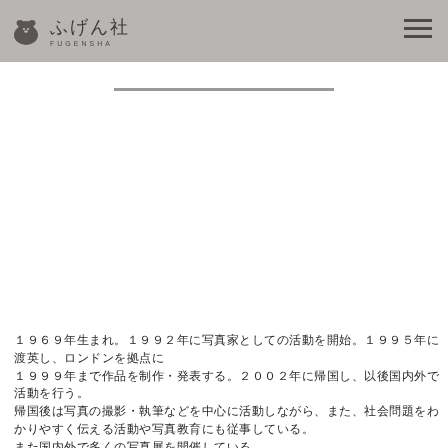Geography
ふげん社 FUGENSHA
1969年生まれ。1992年に写真家としての活動を開始。1995年に渡英し、ロンドンを拠点に2002年まで作品を制作・発表する。その後、帰国し、国内外で写真の撮影、執筆などを行いながら、一方、政治・社会問題を平易な言葉で伝える活動も行っている。2012年より客員。2009年より日本写真学園でGeographyを教授。（B.G.I., 2019）。「The Origin of Tokyo」（B.G.I., 2019）「The